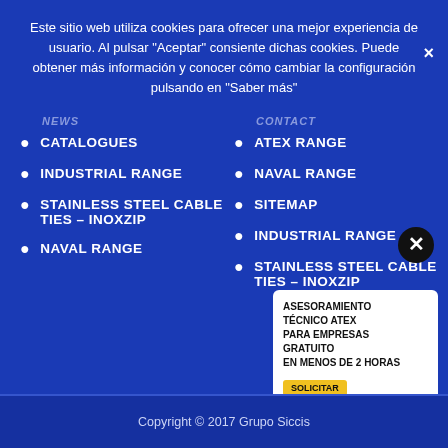Este sitio web utiliza cookies para ofrecer una mejor experiencia de usuario. Al pulsar "Aceptar" consiente dichas cookies. Puede obtener más información y conocer cómo cambiar la configuración pulsando en "Saber más"
NEWS
CATALOGUES
INDUSTRIAL RANGE
STAINLESS STEEL CABLE TIES – INOXZIP
NAVAL RANGE
CONTACT
ATEX RANGE
NAVAL RANGE
SITEMAP
INDUSTRIAL RANGE
STAINLESS STEEL CABLE TIES – INOXZIP
Copyright © 2017 Grupo Siccis
[Figure (infographic): Advertisement widget: ASESORAMIENTO TÉCNICO ATEX PARA EMPRESAS GRATUITO EN MENOS DE 2 HORAS with a yellow call-to-action button]